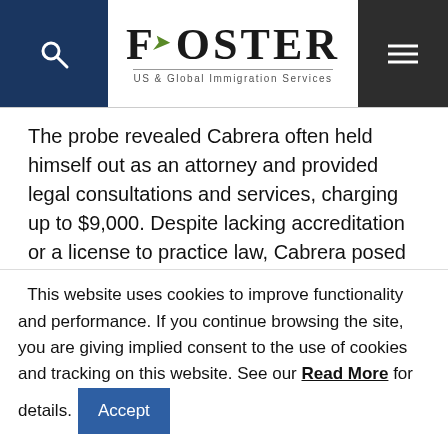Foster — US & Global Immigration Services
The probe revealed Cabrera often held himself out as an attorney and provided legal consultations and services, charging up to $9,000. Despite lacking accreditation or a license to practice law, Cabrera posed as an immigration lawyer and expert with a proven record of helping immigrants on major media platforms in both mainstream and Spanish-language media. The defendant used his
This website uses cookies to improve functionality and performance. If you continue browsing the site, you are giving implied consent to the use of cookies and tracking on this website. See our Read More for details.